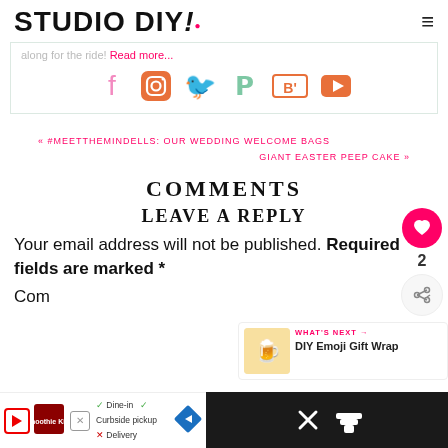STUDIO DIY!
along for the ride! Read more...
[Figure (other): Social media icons: Facebook (pink), Instagram (orange), Twitter (teal), Pinterest (mint), Bloglovin (orange), YouTube (orange)]
« #MEETTHEMINDELLS: OUR WEDDING WELCOME BAGS
GIANT EASTER PEEP CAKE »
COMMENTS
LEAVE A REPLY
Your email address will not be published. Required fields are marked *
WHAT'S NEXT → DIY Emoji Gift Wrap
Com
[Figure (other): Advertisement bar with Smoothie King logo, dine-in/curbside pickup options, navigation arrow diamond, and close button]